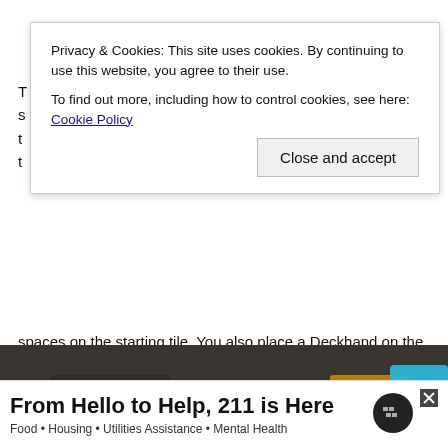T
s
t
t
Privacy & Cookies: This site uses cookies. By continuing to use this website, you agree to their use.
To find out more, including how to control cookies, see here: Cookie Policy
Close and accept
spaces on the starting tile. You also place a Deckhand on the space with the trapdoor. The 20 double-sided tokens are put into the cloth bag. The explosion marker is placed near the explosion track on the starting tile. The rest of the Deckhands and dice are placed nearby in a supply.
[Figure (photo): Photo of a board game being played on a dark cloth surface. Hands are visible moving cards/tiles. Dice are visible including a black die. Game components include yellow/orange colored cards and red meeple pieces.]
From Hello to Help, 211 is Here
Food • Housing • Utilities Assistance • Mental Health